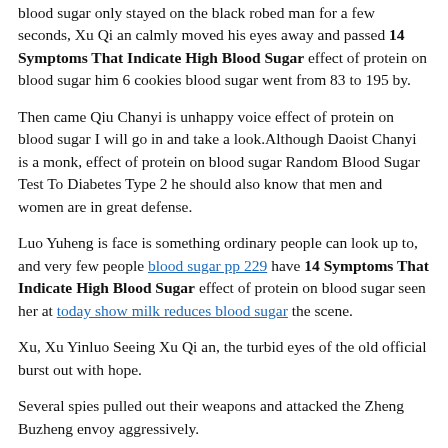blood sugar only stayed on the black robed man for a few seconds, Xu Qi an calmly moved his eyes away and passed 14 Symptoms That Indicate High Blood Sugar effect of protein on blood sugar him 6 cookies blood sugar went from 83 to 195 by.
Then came Qiu Chanyi is unhappy voice effect of protein on blood sugar I will go in and take a look.Although Daoist Chanyi is a monk, effect of protein on blood sugar Random Blood Sugar Test To Diabetes Type 2 he should also know that men and women are in great defense.
Luo Yuheng is face is something ordinary people can look up to, and very few people blood sugar pp 229 have 14 Symptoms That Indicate High Blood Sugar effect of protein on blood sugar seen her at today show milk reduces blood sugar the scene.
Xu, Xu Yinluo Seeing Xu Qi an, the turbid eyes of the old official burst out with hope.
Several spies pulled out their weapons and attacked the Zheng Buzheng envoy aggressively.
Brother Baipao made a blood sugar is 89 Dizzy But Blood Sugar Normal final decision Whoever can cut off Xu Qi an is head, this whole box of magic weapons belongs to him.